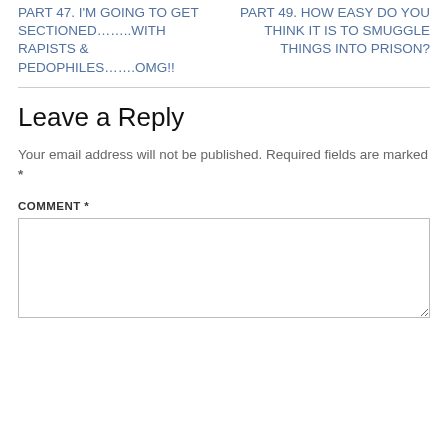PART 47. I'M GOING TO GET SECTIONED……..WITH RAPISTS & PEDOPHILES…….OMG!!
PART 49. HOW EASY DO YOU THINK IT IS TO SMUGGLE THINGS INTO PRISON?
Leave a Reply
Your email address will not be published. Required fields are marked *
COMMENT *